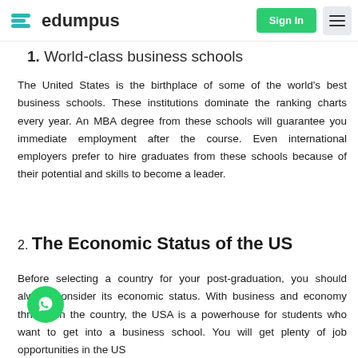edumpus | Sign In | menu
1. World-class business schools
The United States is the birthplace of some of the world's best business schools. These institutions dominate the ranking charts every year. An MBA degree from these schools will guarantee you immediate employment after the course. Even international employers prefer to hire graduates from these schools because of their potential and skills to become a leader.
2. The Economic Status of the US
Before selecting a country for your post-graduation, you should always consider its economic status. With business and economy thriving in the country, the USA is a powerhouse for students who want to get into a business school. You will get plenty of job opportunities in the US and you can also get a MBA degree. So if you...